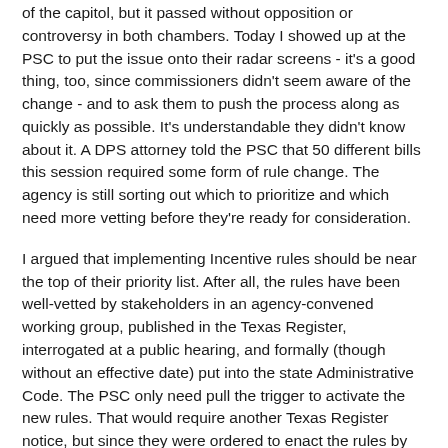of the capitol, but it passed without opposition or controversy in both chambers. Today I showed up at the PSC to put the issue onto their radar screens - it's a good thing, too, since commissioners didn't seem aware of the change - and to ask them to push the process along as quickly as possible. It's understandable they didn't know about it. A DPS attorney told the PSC that 50 different bills this session required some form of rule change. The agency is still sorting out which to prioritize and which need more vetting before they're ready for consideration.
I argued that implementing Incentive rules should be near the top of their priority list. After all, the rules have been well-vetted by stakeholders in an agency-convened working group, published in the Texas Register, interrogated at a public hearing, and formally (though without an effective date) put into the state Administrative Code. The PSC only need pull the trigger to activate the new rules. That would require another Texas Register notice, but since they were ordered to enact the rules by the Legislature, the process shouldn't be controversial. Col. Steve McCraw, himself not a fan of the surcharge, told the commission  that staff would be